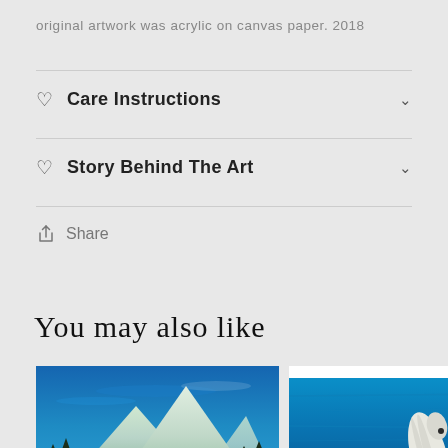original artwork was acrylic on canvas paper. 2018
Care Instructions
Story Behind The Art
Share
You may also like
[Figure (photo): Two product thumbnail images side by side: left shows a painting of mountains with blue sky, right shows a painting of a whale in blue ocean water.]